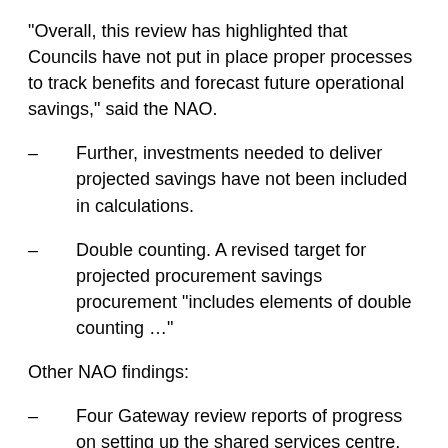“Overall, this review has highlighted that Councils have not put in place proper processes to track benefits and forecast future operational savings,” said the NAO.
Further, investments needed to deliver projected savings have not been included in calculations.
Double counting. A revised target for projected procurement savings procurement “includes elements of double counting …”
Other NAO findings:
Four Gateway review reports of progress on setting up the shared services centre, including a review which put the project at “red – immediate action needed”, were not fully followed up.